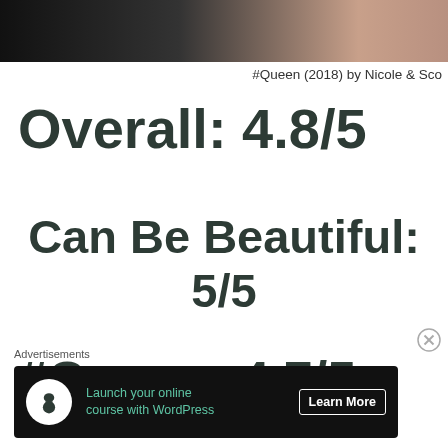[Figure (photo): Cropped photo strip showing partial figures against dark background]
#Queen (2018) by Nicole & Sco
Overall: 4.8/5
Can Be Beautiful: 5/5
#Queen: 4.7/5
Advertisements
[Figure (screenshot): Advertisement banner: Launch your online course with WordPress — Learn More]